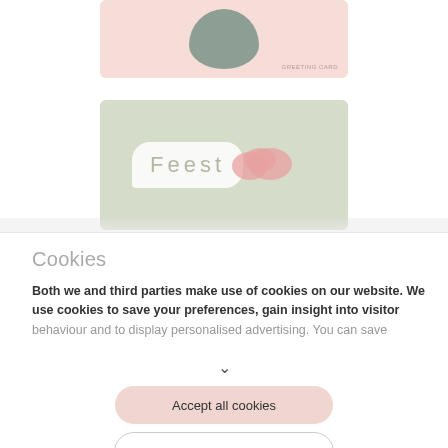[Figure (illustration): Partial view of a pink greeting card with a green/teal rounded shape, cropped at top of page]
[Figure (illustration): Green card with speech bubble containing the word 'Feest' and a pink cloud shape on the right]
Cookies
Both we and third parties make use of cookies on our website. We use cookies to save your preferences, gain insight into visitor behaviour and to display personalised advertising. You can save
Accept all cookies
Cookie settings